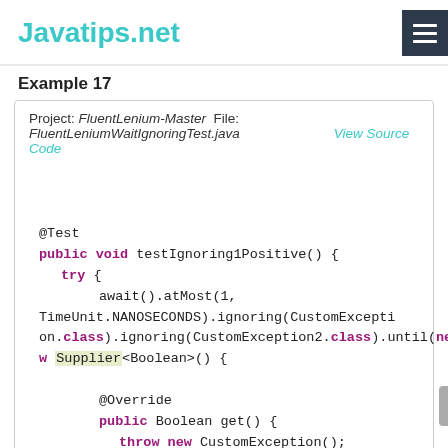Javatips.net
Example 17
Project: FluentLenium-Master  File: FluentLeniumWaitIgnoringTest.java    View Source Code
@Test
public void testIgnoring1Positive() {
    try {
        await().atMost(1, TimeUnit.NANOSECONDS).ignoring(CustomException.class).ignoring(CustomException2.class).until(new Supplier<Boolean>() {

            @Override
            public Boolean get() {
                throw new CustomException();